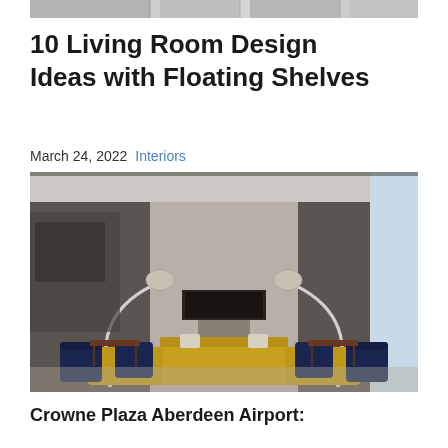[Figure (photo): Partial top strip of a room/interior image, cropped at the top of the page]
10 Living Room Design Ideas with Floating Shelves
March 24, 2022  Interiors
[Figure (photo): Hotel lobby or modern living room with yellow sofas, navy blue armchairs, arc floor lamps with chrome shades, dark textured wall panels, a linear fireplace, and wood side tables arranged symmetrically]
Crowne Plaza Aberdeen Airport: